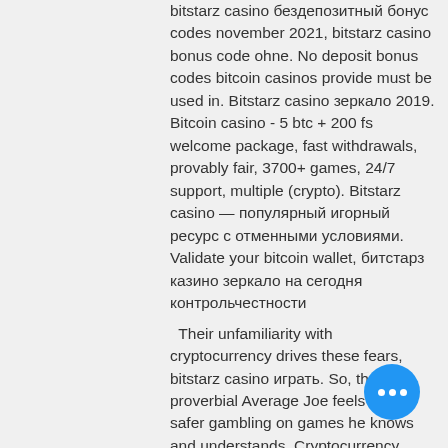bitstarz casino бездепозитный бонус codes november 2021, bitstarz casino bonus code ohne. No deposit bonus codes bitcoin casinos provide must be used in. Bitstarz casino зеркало 2019. Bitcoin casino - 5 btc + 200 fs welcome package, fast withdrawals, provably fair, 3700+ games, 24/7 support, multiple (crypto). Bitstarz casino — популярный игорный ресурс с отменными условиями. Validate your bitcoin wallet, битстарз казино зеркало на сегодня контрольчестности
Their unfamiliarity with cryptocurrency drives these fears, bitstarz casino играть. So, the proverbial Average Joe feels much safer gambling on games he knows and understands. Cryptocurrency trading addition has been linked to gambling addition. The thrill of chasing after risks in the pursuit to "get ahead" is also associated with gambling addiction, bitstarz casino промокод 30. These bonuses, along with the no-deposit